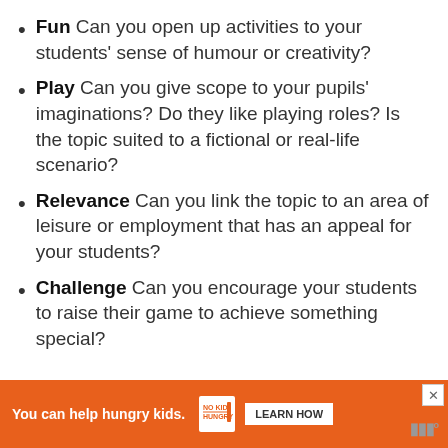Fun Can you open up activities to your students' sense of humour or creativity?
Play Can you give scope to your pupils' imaginations? Do they like playing roles? Is the topic suited to a fictional or real-life scenario?
Relevance Can you link the topic to an area of leisure or employment that has an appeal for your students?
Challenge Can you encourage your students to raise their game to achieve something special?